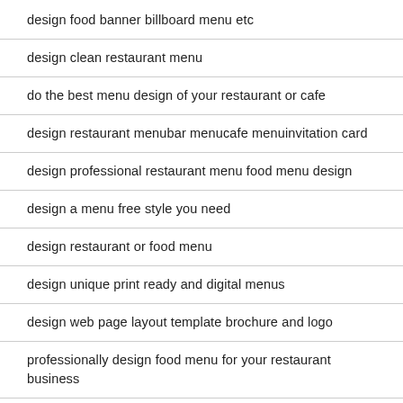design food banner billboard menu etc
design clean restaurant menu
do the best menu design of your restaurant or cafe
design restaurant menubar menucafe menuinvitation card
design professional restaurant menu food menu design
design a menu free style you need
design restaurant or food menu
design unique print ready and digital menus
design web page layout template brochure and logo
professionally design food menu for your restaurant business